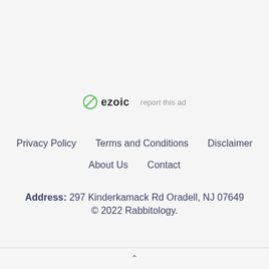[Figure (logo): Ezoic logo with green circle icon and bold 'ezoic' text, followed by 'report this ad' link]
Privacy Policy   Terms and Conditions   Disclaimer
About Us   Contact
Address: 297 Kinderkamack Rd Oradell, NJ 07649
© 2022 Rabbitology.
^